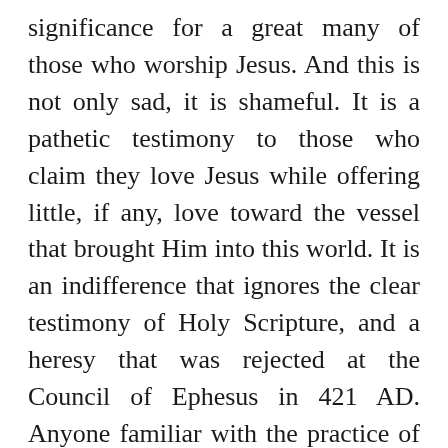significance for a great many of those who worship Jesus. And this is not only sad, it is shameful. It is a pathetic testimony to those who claim they love Jesus while offering little, if any, love toward the vessel that brought Him into this world. It is an indifference that ignores the clear testimony of Holy Scripture, and a heresy that was rejected at the Council of Ephesus in 421 AD. Anyone familiar with the practice of the Early Church should not be surprised with Christians adoring Mary, as the church catholic established the universal tradition of